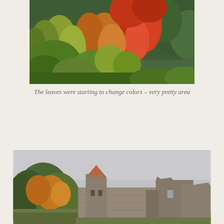[Figure (photo): Autumn forest scene with colorful foliage — red, orange, yellow, and green trees covering a hillside. Very vibrant fall colors.]
The leaves were starting to change colors – very pretty area
[Figure (photo): Castle ruins with stone walls, a round tower with orange/red tiled roof, and other deteriorating stone structures, surrounded by trees with fall foliage, under an overcast grey sky.]